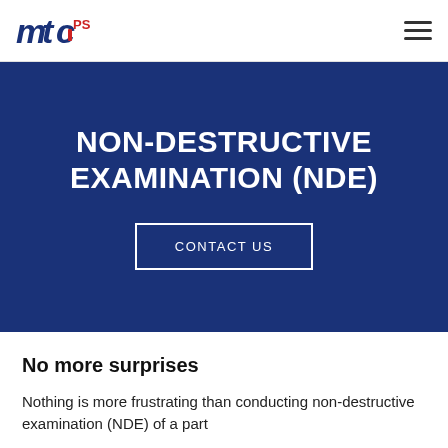[Figure (logo): MTC PS company logo with blue italic bold MTC text and red accent, with PS superscript in red]
[Figure (other): Hamburger menu icon (three horizontal lines)]
NON-DESTRUCTIVE EXAMINATION (NDE)
CONTACT US
No more surprises
Nothing is more frustrating than conducting non-destructive examination (NDE) of a part